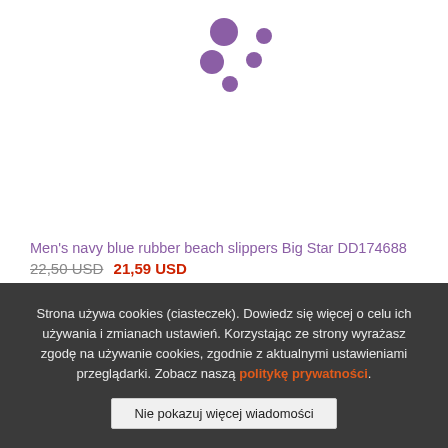[Figure (other): Purple loading spinner animation dots arranged in a circular pattern]
Men's navy blue rubber beach slippers Big Star DD174688
22,50 USD  21,59 USD
40
Strona używa cookies (ciasteczek). Dowiedz się więcej o celu ich używania i zmianach ustawień. Korzystając ze strony wyrażasz zgodę na używanie cookies, zgodnie z aktualnymi ustawieniami przeglądarki. Zobacz naszą politykę prywatności.
Nie pokazuj więcej wiadomości